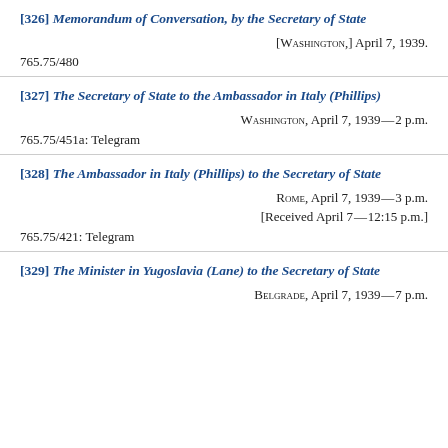[326] Memorandum of Conversation, by the Secretary of State
[Washington,] April 7, 1939.
765.75/480
[327] The Secretary of State to the Ambassador in Italy (Phillips)
Washington, April 7, 1939—2 p.m.
765.75/451a: Telegram
[328] The Ambassador in Italy (Phillips) to the Secretary of State
Rome, April 7, 1939—3 p.m.
[Received April 7—12:15 p.m.]
765.75/421: Telegram
[329] The Minister in Yugoslavia (Lane) to the Secretary of State
Belgrade, April 7, 1939—7 p.m.